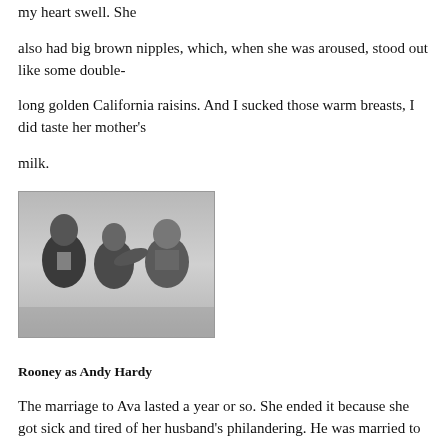my heart swell. She
also had big brown nipples, which, when she was aroused, stood out like some double-
long golden California raisins. And I sucked those warm breasts, I did taste her mother's
milk.
[Figure (photo): Black and white photograph of three people: an elderly man on the left, a woman in the center, and a younger man on the right. The woman appears to be whispering or speaking into the younger man's ear while grabbing the older man's lapel.]
Rooney as Andy Hardy
The marriage to Ava lasted a year or so. She ended it because she got sick and tired of her husband's philandering. He was married to